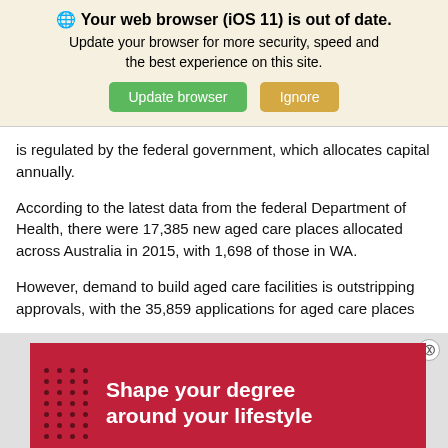[Figure (screenshot): Browser update notification banner with globe icon, bold heading 'Your web browser (iOS 11) is out of date.', subtitle text, and two buttons: green 'Update browser' and tan 'Ignore'.]
is regulated by the federal government, which allocates capital annually.
According to the latest data from the federal Department of Health, there were 17,385 new aged care places allocated across Australia in 2015, with 1,698 of those in WA.
However, demand to build aged care facilities is outstripping approvals, with the 35,859 applications for aged care places
[Figure (illustration): Red advertisement banner with dot pattern on left and white bold text reading 'Shape your degree around your lifestyle']